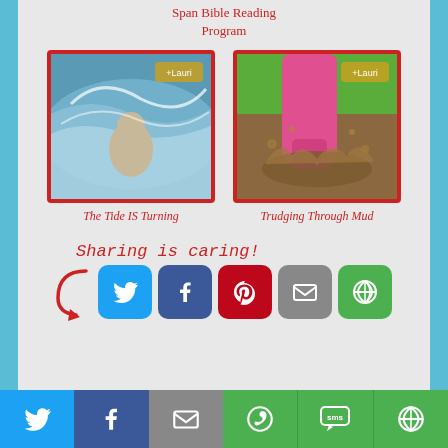Span Bible Reading Program
[Figure (photo): A wet dog or animal in ocean waves, with a 'Lauri' watermark badge, red border frame]
The Tide IS Turning
[Figure (photo): Pink rubber boots splashing in mud, with a 'Lauri' watermark badge, red border frame]
Trudging Through Mud
Sharing is caring!
[Figure (infographic): Social sharing buttons row: Twitter (blue), Facebook (dark blue), Pinterest (red), Email (grey), Other/More (green)]
[Figure (infographic): Bottom bar social sharing buttons: Twitter, Facebook, Email, WhatsApp, SMS, Other]